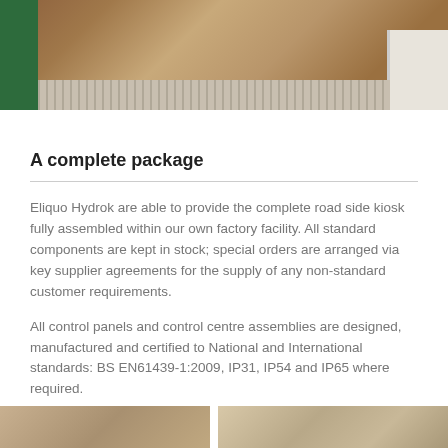[Figure (photo): Photo of a road side kiosk with green frame on the left, wooden door, white frame/rails, and floor tracks visible from above]
A complete package
Eliquo Hydrok are able to provide the complete road side kiosk fully assembled within our own factory facility. All standard components are kept in stock; special orders are arranged via key supplier agreements for the supply of any non-standard customer requirements.
All control panels and control centre assemblies are designed, manufactured and certified to National and International standards: BS EN61439-1:2009, IP31, IP54 and IP65 where required.
[Figure (photo): Partial photo at the bottom of the page showing equipment or machinery]